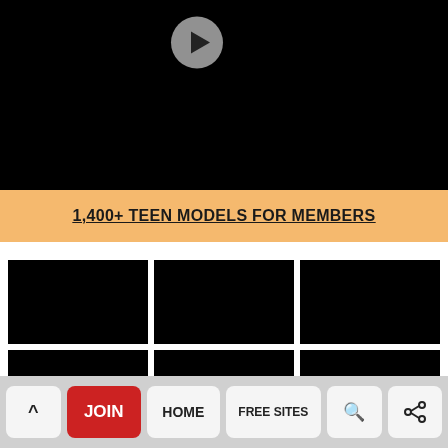[Figure (screenshot): Black video player area with a circular play button icon in the upper center]
1,400+ TEEN MODELS FOR MEMBERS
[Figure (screenshot): 3x2 grid of blacked-out thumbnail images]
^ JOIN HOME FREE SITES 🔍 <